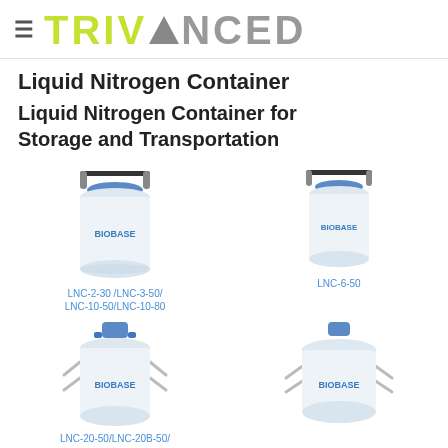TRIVANCED (logo with hamburger menu)
Liquid Nitrogen Container
Liquid Nitrogen Container for Storage and Transportation
[Figure (photo): BIOBASE liquid nitrogen container, smaller model. Product codes: LNC-2-30 /LNC-3-50/ LNC-10-50/LNC-10-80]
[Figure (photo): BIOBASE liquid nitrogen container, medium model. Product code: LNC-6-50]
[Figure (photo): BIOBASE liquid nitrogen container, large model with side handles. Product codes: LNC-20-50/LNC-20B-50/]
[Figure (photo): BIOBASE liquid nitrogen container, large round model with side handles.]